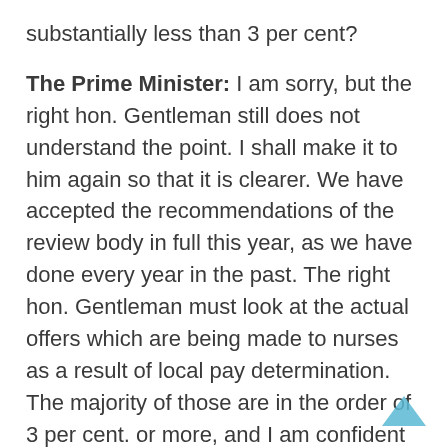substantially less than 3 per cent?
The Prime Minister: I am sorry, but the right hon. Gentleman still does not understand the point. I shall make it to him again so that it is clearer. We have accepted the recommendations of the review body in full this year, as we have done every year in the past. The right hon. Gentleman must look at the actual offers which are being made to nurses as a result of local pay determination. The majority of those are in the order of 3 per cent. or more, and I am confident that that trend will continue. We set up the review body–which was welcomed by nurses–and it has made recommendations which I think we should stick to.
Mr. Blair: The Prime Minister cannot have it both ways. Either he believes– [Interruption.]